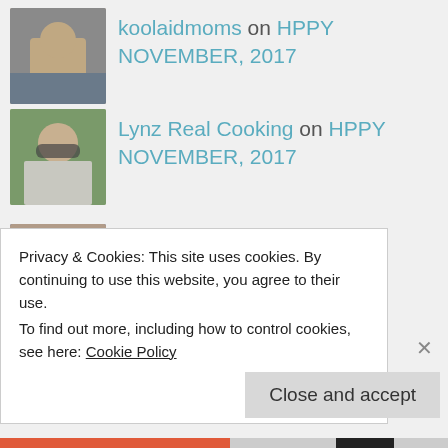koolaidmoms on HPPY NOVEMBER, 2017
Lynz Real Cooking on HPPY NOVEMBER, 2017
Cheryl "Cheffie Cook... on In Deep Thought!
[Figure (photo): Partial avatar photo at bottom]
Privacy & Cookies: This site uses cookies. By continuing to use this website, you agree to their use.
To find out more, including how to control cookies, see here: Cookie Policy
Close and accept